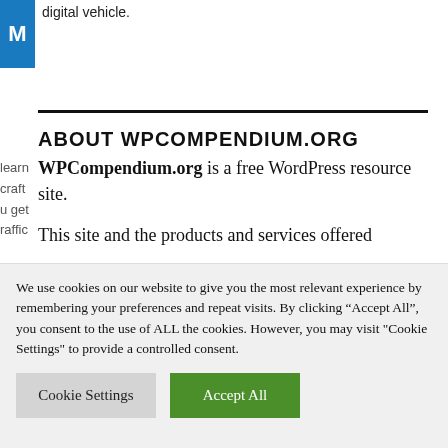[Figure (logo): WPCompendium logo - blue square with white M letter]
digital vehicle.
ABOUT WPCOMPENDIUM.ORG
WPCompendium.org is a free WordPress resource site.
This site and the products and services offered
We use cookies on our website to give you the most relevant experience by remembering your preferences and repeat visits. By clicking "Accept All", you consent to the use of ALL the cookies. However, you may visit "Cookie Settings" to provide a controlled consent.